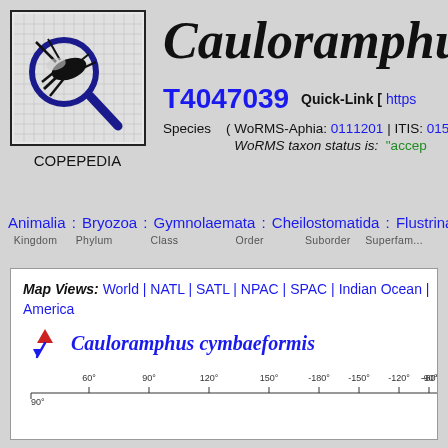[Figure (logo): Copepedia logo: magnifying glass over copepod silhouette on grid background]
Cauloramphus c
T4047039   Quick-Link [ https...
Species  ( WoRMS-Aphia: 0111201 | ITIS: 015...
WoRMS taxon status is: "accep..."
Animalia : Bryozoa : Gymnolaemata : Cheilostomatida : Flustrina : Calloporo...
Kingdom   Phylum   Class   Order   Suborder   Superfam...
Map Views: World | NATL | SATL | NPAC | SPAC | Indian Ocean | ... America
Cauloramphus cymbaeformis
[Figure (map): World distribution map with latitude/longitude axis showing species occurrence for Cauloramphus cymbaeformis]